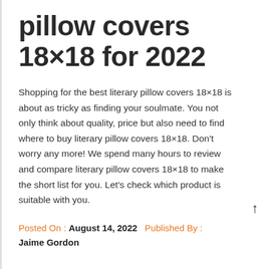pillow covers 18×18 for 2022
Shopping for the best literary pillow covers 18×18 is about as tricky as finding your soulmate. You not only think about quality, price but also need to find where to buy literary pillow covers 18×18. Don't worry any more! We spend many hours to review and compare literary pillow covers 18×18 to make the short list for you. Let's check which product is suitable with you.
Posted On : August 14, 2022   Published By : Jaime Gordon